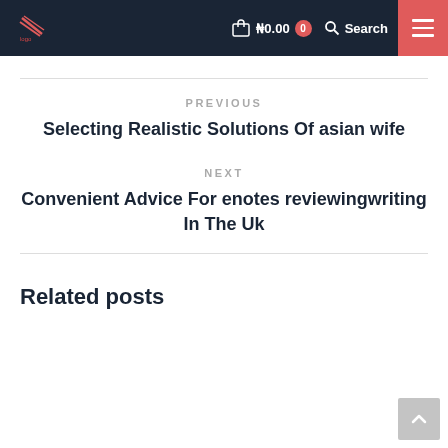₦0.00  0  Search
PREVIOUS
Selecting Realistic Solutions Of asian wife
NEXT
Convenient Advice For enotes reviewingwriting In The Uk
Related posts